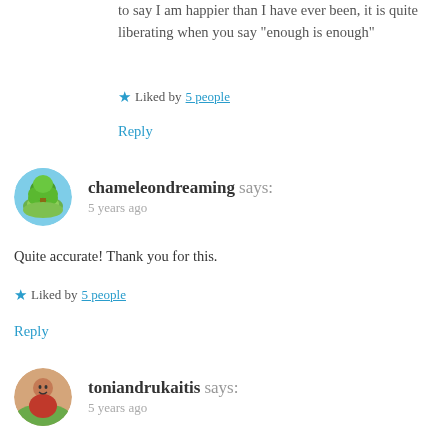to say I am happier than I have ever been, it is quite liberating when you say “enough is enough”
Liked by 5 people
Reply
chameleondreaming says:
5 years ago
Quite accurate! Thank you for this.
Liked by 5 people
Reply
toniandrukaitis says:
5 years ago